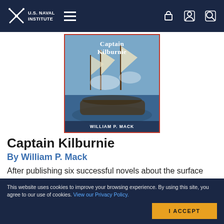U.S. NAVAL INSTITUTE
[Figure (illustration): Book cover of Captain Kilburnie by William P. Mack, showing a naval battle scene with sailing ships]
Captain Kilburnie
By William P. Mack
After publishing six successful novels about the surface engagements of World
This website uses cookies to improve your browsing experience. By using this site, you agree to our use of cookies. View our Privacy Policy.